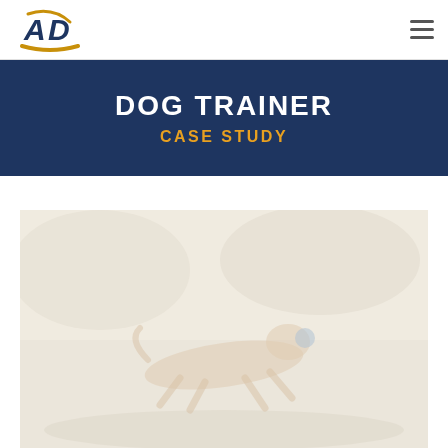[Figure (logo): AJD logo with stylized A and D letters in dark blue and gold swoosh]
Navigation bar with hamburger menu icon
DOG TRAINER
CASE STUDY
[Figure (photo): Faded/washed-out photo of a dog running, appearing to carry a ball, set against a blurred outdoor background]